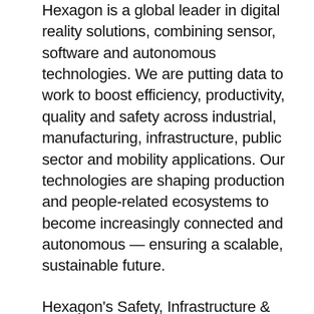Hexagon is a global leader in digital reality solutions, combining sensor, software and autonomous technologies. We are putting data to work to boost efficiency, productivity, quality and safety across industrial, manufacturing, infrastructure, public sector and mobility applications. Our technologies are shaping production and people-related ecosystems to become increasingly connected and autonomous — ensuring a scalable, sustainable future.
Hexagon's Safety, Infrastructure & Geospatial division improves the resilience and sustainability of the